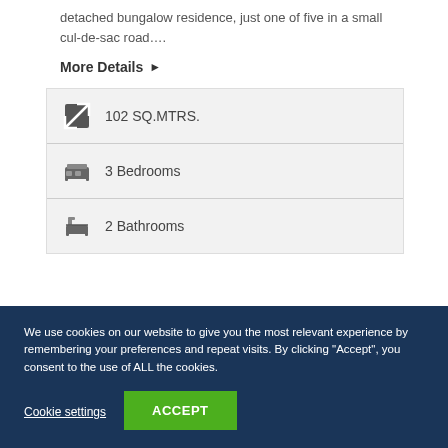detached bungalow residence, just one of five in a small cul-de-sac road….
More Details ▶
102 SQ.MTRS.
3 Bedrooms
2 Bathrooms
No 8 Crandara House, Dublin Road
We use cookies on our website to give you the most relevant experience by remembering your preferences and repeat visits. By clicking "Accept", you consent to the use of ALL the cookies.
Cookie settings
ACCEPT